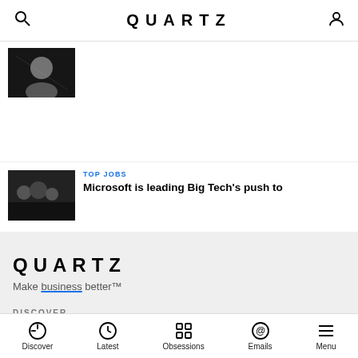QUARTZ
[Figure (photo): Partial thumbnail image of article at top of page]
[Figure (photo): Thumbnail image of people for TOP JOBS article]
TOP JOBS
Microsoft is leading Big Tech's push to
QUARTZ
Make business better™
DISCOVER
Field guides
Popular
Discover  Latest  Obsessions  Emails  Menu